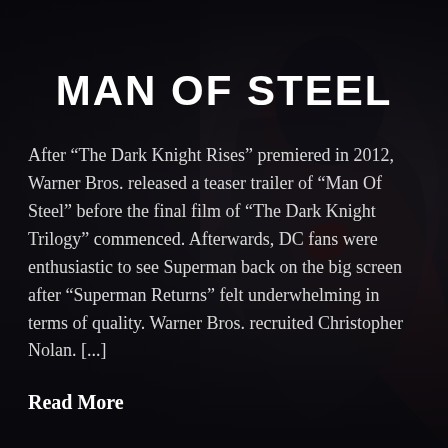[Figure (illustration): Dark dramatic background image of Superman in a crouching/kneeling pose, wearing a dark costume with the iconic 'S' shield visible. The image has a dark, gritty cinematic look with muted tones of gray, red, and shadow.]
MAN OF STEEL
After “The Dark Knight Rises” premiered in 2012, Warner Bros. released a teaser trailer of “Man Of Steel” before the final film of “The Dark Knight Trilogy” commenced. Afterwards, DC fans were enthusiastic to see Superman back on the big screen after “Superman Returns” felt underwhelming in terms of quality. Warner Bros. recruited Christopher Nolan. [...]
Read More